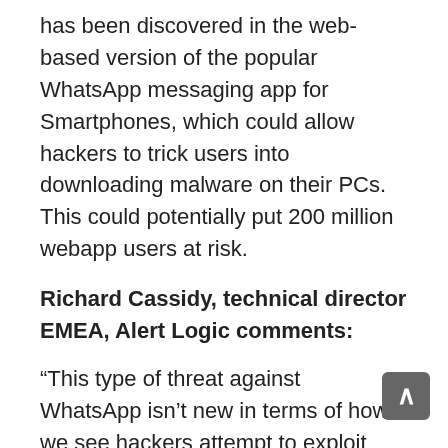has been discovered in the web-based version of the popular WhatsApp messaging app for Smartphones, which could allow hackers to trick users into downloading malware on their PCs. This could potentially put 200 million webapp users at risk.
Richard Cassidy, technical director EMEA, Alert Logic comments:
“This type of threat against WhatsApp isn’t new in terms of how we see hackers attempt to exploit popular messaging services. Given the inherently open trust model that WhatsApp is built on, such as finding contacts in address books who may be using WhatsApp and sending invites openly to others, in addition to open sharing of files, images, videos and of course vCards; it’s an app that presents a great deal of opportunity for attackers to trick users (for whom